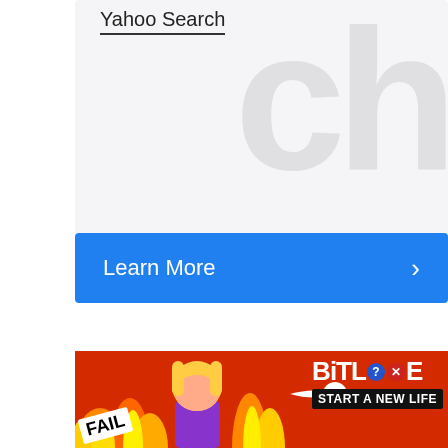[Figure (screenshot): Yahoo Search UI card with underlined 'Yahoo Search' text label, a large light gray background area with a faint 'ch' watermark letter graphic on the right, and a blue 'Learn More >' button at the bottom. Below is white space, and at the very bottom a BitLife mobile game advertisement banner with flames, a cartoon character, sperm icon, and text 'BitLife START A NEW LIFE' with a red background.]